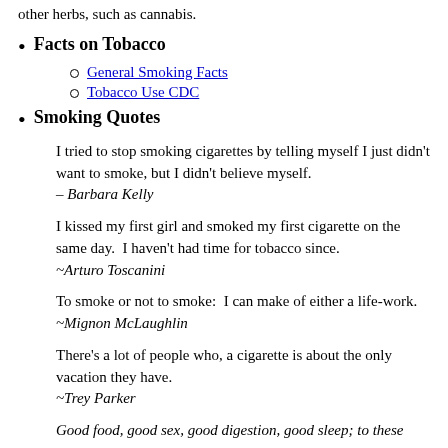other herbs, such as cannabis.
Facts on Tobacco
General Smoking Facts
Tobacco Use CDC
Smoking Quotes
I tried to stop smoking cigarettes by telling myself I just didn't want to smoke, but I didn't believe myself. – Barbara Kelly
I kissed my first girl and smoked my first cigarette on the same day.  I haven't had time for tobacco since. ~Arturo Toscanini
To smoke or not to smoke:  I can make of either a life-work. ~Mignon McLaughlin
There's a lot of people who, a cigarette is about the only vacation they have. ~Trey Parker
Good food, good sex, good digestion, good sleep; to these